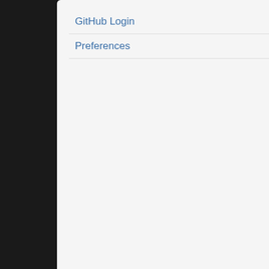GitHub Login
Preferences
7:57 PM Ticket #3600 (DatePicker B... Invalid: Just check older tickets, don...
7:55 PM Ticket #3603 (JSONP callb... Invalid: Everyone uses JSONP with...
7:00 PM Ticket #3602 (Passing a co... Invalid: $([foo,null]) simply generates...
7:33 PM Ticket #3604 (JQuery Anim... When fading in a lot list of items, the...
7:03 PM Ticket #3603 (JSONP callb... JSONP callbacks only allow one pa...
0:58 PM Ticket #3602 (Passing a co... Lets say I have function with two arg...
11:05 AM Ticket #3601 (Mismatch p... In some cases mismatch parameter...
10:17 AM Ticket #3600 (DatePicker ... The Date Picker has a Bug. Only for...
10:08 AM Ticket #3599 (animate: "va... Invalid: Nope. It's not a bug, just a ty...
5:22 AM Ticket #3599 (animate: "val... The fx.js's animate function does no...
3:43 AM Ticket #3598 (Internet Expl... This ticket provides a fix for an IE bu...
NOV 12, 2008:
10:05 PM Ticket #3322 (offset body... wontfix: Adding position relative to th...